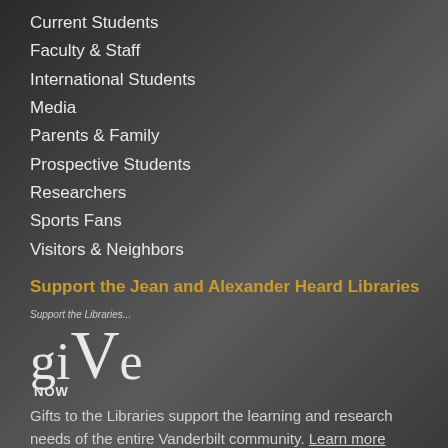Current Students
Faculty & Staff
International Students
Media
Parents & Family
Prospective Students
Researchers
Sports Fans
Visitors & Neighbors
Support the Jean and Alexander Heard Libraries
[Figure (logo): Give Now logo with stylized text: small italic 'Support the Libraries...' above large serif 'giVe' with 'NOW' below]
Gifts to the Libraries support the learning and research needs of the entire Vanderbilt community. Learn more